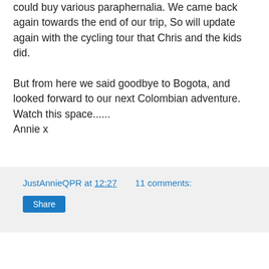could buy various paraphernalia.  We came back again towards the end of our trip,  So will update again with the cycling tour that Chris and the kids did.

But from here we said goodbye to Bogota, and looked forward to our next Colombian adventure.  Watch this space......
Annie x
JustAnnieQPR at 12:27    11 comments:
Share
Sunday, 3 February 2019
Travelling COLOMBIA with Kids - Yes South America, NOT Columbia!
With news that Colombia was safer to travel to now, we
[Figure (photo): Photo of colorful market goods/clothing]